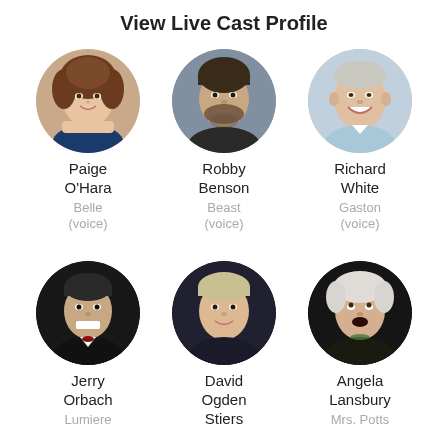View Live Cast Profile
[Figure (photo): Circular headshot of Paige O'Hara, a woman with curly brown hair wearing a necklace]
Paige O'Hara
Belle (voice)
[Figure (photo): Circular headshot of Robby Benson, a man with short dark hair and beard]
Robby Benson
Beast (voice)
[Figure (photo): Circular headshot of Richard White, an older man smiling in a light blue shirt]
Richard White
Gaston (voice)
[Figure (photo): Circular headshot of Jerry Orbach, a man in a tuxedo smiling]
Jerry Orbach
Lumiere
[Figure (photo): Circular headshot of David Ogden Stiers, a man with light hair wearing dark clothing]
David Ogden Stiers
[Figure (photo): Circular headshot of Angela Lansbury, an older woman with light hair in dark clothing]
Angela Lansbury
Mrs. Potts